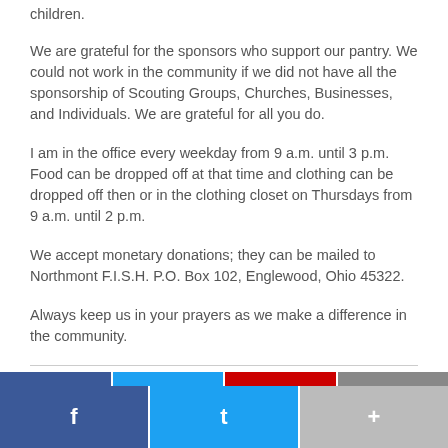children.
We are grateful for the sponsors who support our pantry. We could not work in the community if we did not have all the sponsorship of Scouting Groups, Churches, Businesses, and Individuals. We are grateful for all you do.
I am in the office every weekday from 9 a.m. until 3 p.m. Food can be dropped off at that time and clothing can be dropped off then or in the clothing closet on Thursdays from 9 a.m. until 2 p.m.
We accept monetary donations; they can be mailed to Northmont F.I.S.H. P.O. Box 102, Englewood, Ohio 45322.
Always keep us in your prayers as we make a difference in the community.
[Figure (other): Social media share buttons: Facebook (blue), Twitter (light blue), and More (gray) buttons at the bottom of the page, with a thin colored bar above them.]